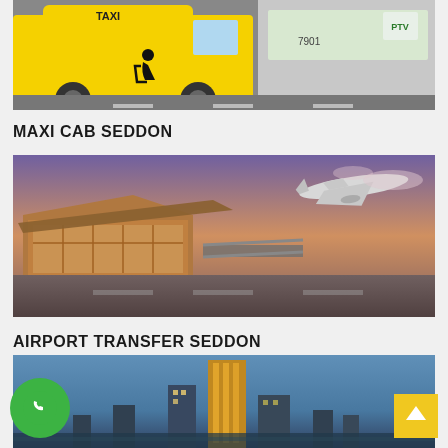[Figure (photo): Yellow accessible taxi van with wheelchair symbol and a public transit bus in the background]
MAXI CAB SEDDON
[Figure (photo): Airport terminal building with modern architecture and a passenger jet taking off at sunset/dusk with purple and orange sky]
AIRPORT TRANSFER SEDDON
[Figure (photo): City skyline with tall illuminated buildings at dusk]